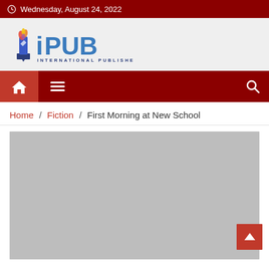Wednesday, August 24, 2022
[Figure (logo): iPUB International Publishers logo with colorful pen/award icon and blue bold text 'PUB' with 'INTERNATIONAL PUBLISHERS' in navy below]
[Figure (infographic): Navigation bar with dark red background, home icon button in brighter red, hamburger menu icon, and search icon on right]
Home / Fiction / First Morning at New School
[Figure (photo): Gray placeholder image for article about First Morning at New School, with a red scroll-to-top button overlaid at bottom right]